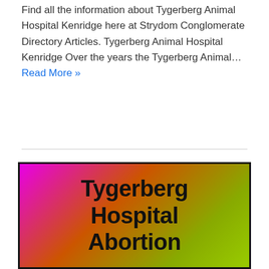Find all the information about Tygerberg Animal Hospital Kenridge here at Strydom Conglomerate Directory Articles. Tygerberg Animal Hospital Kenridge Over the years the Tygerberg Animal… Read More »
[Figure (illustration): A gradient image box transitioning from magenta/pink on the left to olive green on the right, containing bold black text reading 'Tygerberg Hospital Abortion']